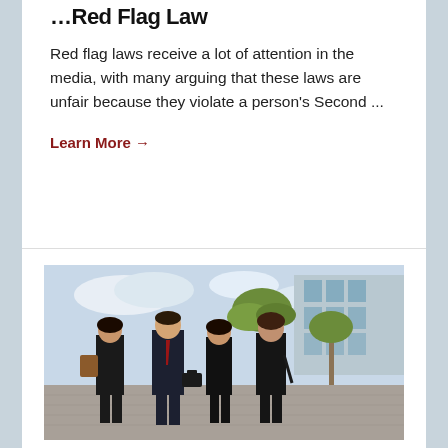...Red Flag Law
Red flag laws receive a lot of attention in the media, with many arguing that these laws are unfair because they violate a person's Second ...
Learn More →
[Figure (photo): Four lawyers walking outdoors near a building with palm trees — three women and one man in dark professional attire, man wearing red tie and carrying a briefcase.]